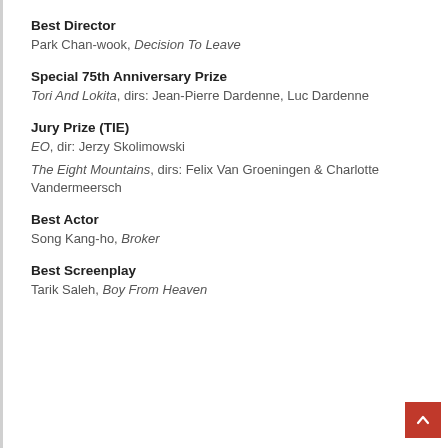Best Director
Park Chan-wook, Decision To Leave
Special 75th Anniversary Prize
Tori And Lokita, dirs: Jean-Pierre Dardenne, Luc Dardenne
Jury Prize (TIE)
EO, dir: Jerzy Skolimowski
The Eight Mountains, dirs: Felix Van Groeningen & Charlotte Vandermeersch
Best Actor
Song Kang-ho, Broker
Best Screenplay
Tarik Saleh, Boy From Heaven